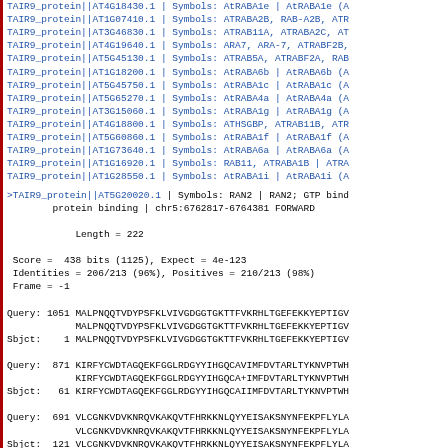TAIR9_protein||AT4G18430.1 | Symbols: AtRABA1e | AtRABA1e (A
TAIR9_protein||AT1G07410.1 | Symbols: ATRABA2B, RAB-A2B, ATR
TAIR9_protein||AT3G46830.1 | Symbols: ATRAB11A, ATRABA2C, AT
TAIR9_protein||AT4G19640.1 | Symbols: ARA7, ARA-7, ATRABF2B,
TAIR9_protein||AT5G45130.1 | Symbols: ATRAB5A, ATRABF2A, RAB
TAIR9_protein||AT1G18200.1 | Symbols: AtRABA6b | AtRABA6b (A
TAIR9_protein||AT5G45750.1 | Symbols: AtRABA1c | AtRABA1c (A
TAIR9_protein||AT5G65270.1 | Symbols: AtRABA4a | AtRABA4a (A
TAIR9_protein||AT3G15060.1 | Symbols: AtRABA1g | AtRABA1g (A
TAIR9_protein||AT4G18800.1 | Symbols: ATHSGBP, ATRAB11B, ATR
TAIR9_protein||AT5G60860.1 | Symbols: AtRABA1f | AtRABA1f (A
TAIR9_protein||AT1G73640.1 | Symbols: AtRABA6a | AtRABA6a (A
TAIR9_protein||AT1G16920.1 | Symbols: RAB11, ATRABA1B | ATRA
TAIR9_protein||AT1G28550.1 | Symbols: AtRABA1i | AtRABA1i (A
>TAIR9_protein||AT5G20020.1 | Symbols: RAN2 | RAN2; GTP bind
        protein binding | chr5:6762817-6764381 FORWARD

            Length = 222

 Score =  438 bits (1125), Expect = 4e-123
 Identities = 206/213 (96%), Positives = 210/213 (98%)
 Frame = -1

Query: 1051 MALPNQQTVDYPSFKLVIVGDGGTGKTTFVKRHLTGEFEKKYEPTIGV
            MALPNQQTVDYPSFKLVIVGDGGTGKTTFVKRHLTGEFEKKYEPTIGV
Sbjct:    1 MALPNQQTVDYPSFKLVIVGDGGTGKTTFVKRHLTGEFEKKYEPTIGV

Query:  871 KIRFYCWDTAGQEKFGGLRDGYYIHGQCAVIMFDVTARLTYKNVPTWH
            KIRFYCWDTAGQEKFGGLRDGYYIHGQCA+IMFDVTARLTYKNVPTWH
Sbjct:   61 KIRFYCWDTAGQEKFGGLRDGYYIHGQCAIIMFDVTARLTYKNVPTWH

Query:  691 VLCGNKVDVKNRQVKAKQVTFHRKKNLQYYEISAKSNYNFEKPFLYLA
            VLCGNKVDVKNRQVKAKQVTFHRKKNLQYYEISAKSNYNFEKPFLYLA
Sbjct:  121 VLCGNKVDVKNRQVKAKQVTFHRKKNLQYYEISAKSNYNFEKPFLYLA

Query:  511 ESPALAPPEVHIDVAEQQKNEADLIAAAAQPLP 413
            ESPALAPPEVH+D+A QQ+NEADL AAAAQPLP
Sbjct:  181 ESPALAPPEVHLDIAAQQONEADLAAAAAQPLP 213

>TAIR9_protein||AT5G20810.1 | Symbols: RAN-1, RAN1, ATRAN1
>TAIR9_protein||AT5G20810.1 | Symbols: RAN-1, RAN1, ATRAN1